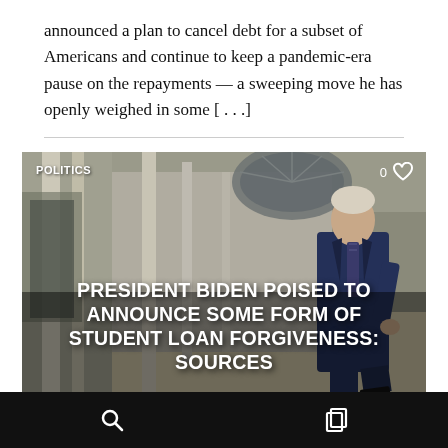announced a plan to cancel debt for a subset of Americans and continue to keep a pandemic-era pause on the repayments — a sweeping move he has openly weighed in some [...]
[Figure (photo): News article thumbnail showing President Biden walking in a White House corridor, wearing a navy blue suit. Overlay text reads: PRESIDENT BIDEN POISED TO ANNOUNCE SOME FORM OF STUDENT LOAN FORGIVENESS: SOURCES. Top-left shows category tag POLITICS.]
Search and bookmark navigation icons